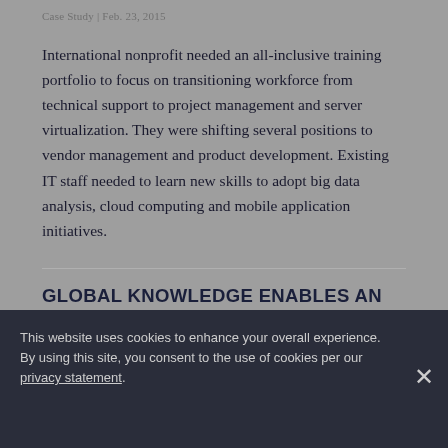Case Study | Feb. 23, 2015
International nonprofit needed an all-inclusive training portfolio to focus on transitioning workforce from technical support to project management and server virtualization. They were shifting several positions to vendor management and product development. Existing IT staff needed to learn new skills to adopt big data analysis, cloud computing and mobile application initiatives.
GLOBAL KNOWLEDGE ENABLES AN INTERNATIONAL CONSULTING AND OUTSOURCING FIRM TO
This website uses cookies to enhance your overall experience. By using this site, you consent to the use of cookies per our privacy statement.